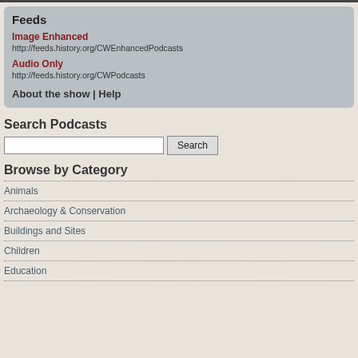Feeds
Image Enhanced
http://feeds.history.org/CWEnhancedPodcasts
Audio Only
http://feeds.history.org/CWPodcasts
About the show | Help
Search Podcasts
Browse by Category
Animals
Archaeology & Conservation
Buildings and Sites
Children
Education